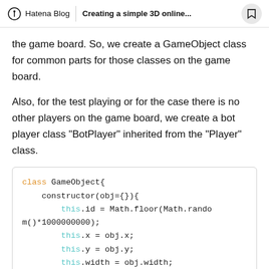Hatena Blog | Creating a simple 3D online...
the game board. So, we create a GameObject class for common parts for those classes on the game board.
Also, for the test playing or for the case there is no other players on the game board, we create a bot player class "BotPlayer" inherited from the "Player" class.
class GameObject{
    constructor(obj={}){
        this.id = Math.floor(Math.random()*1000000000);
        this.x = obj.x;
        this.y = obj.y;
        this.width = obj.width;